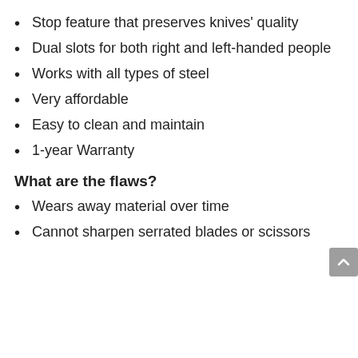Stop feature that preserves knives' quality
Dual slots for both right and left-handed people
Works with all types of steel
Very affordable
Easy to clean and maintain
1-year Warranty
What are the flaws?
Wears away material over time
Cannot sharpen serrated blades or scissors